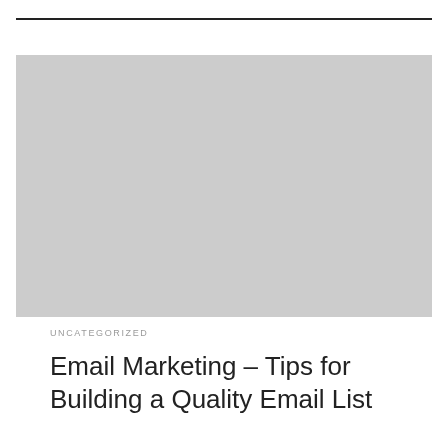[Figure (photo): Gray placeholder image rectangle occupying the upper portion of the page]
UNCATEGORIZED
Email Marketing – Tips for Building a Quality Email List